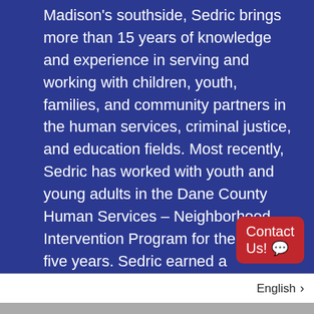Madison's southside, Sedric brings more than 15 years of knowledge and experience in serving and working with children, youth, families, and community partners in the human services, criminal justice, and education fields. Most recently, Sedric has worked with youth and young adults in the Dane County Human Services – Neighborhood Intervention Program for the past five years. Sedric earned a Bachelor of Science degree in Criminal Justice and a Master of Science degree in Criminal Justice, with a concentration in community and correctional rehabilitation.
Contact Us!
English >